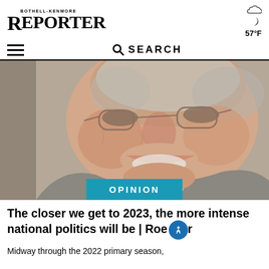BOTHELL-KENMORE REPORTER
57°F
[Figure (photo): Close-up portrait of an older smiling man with glasses and gray hair, wearing a suit and tie]
OPINION
The closer we get to 2023, the more intense national politics will be | Roemer
Midway through the 2022 primary season,